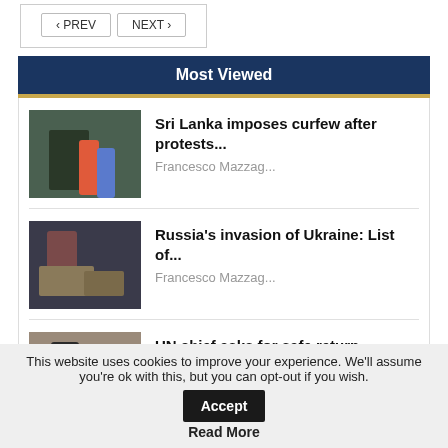< PREV   NEXT >
Most Viewed
Sri Lanka imposes curfew after protests...
Francesco Mazzag...
Russia's invasion of Ukraine: List of...
Francesco Mazzag...
UN chief asks for safe return conditions...
Francesco Mazzag...
This website uses cookies to improve your experience. We'll assume you're ok with this, but you can opt-out if you wish. Accept
Read More